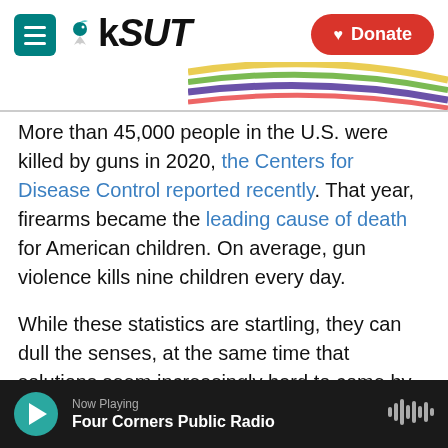KSUT
More than 45,000 people in the U.S. were killed by guns in 2020, the Centers for Disease Control reported recently. That year, firearms became the leading cause of death for American children. On average, gun violence kills nine children every day.
While these statistics are startling, they can dull the senses, at the same time that solutions seem increasingly hard to come by. Here are five books that help us go beyond the numbers: telling the stories of victims of American gun violence, and explaining how we got here and how we might get
Now Playing — Four Corners Public Radio